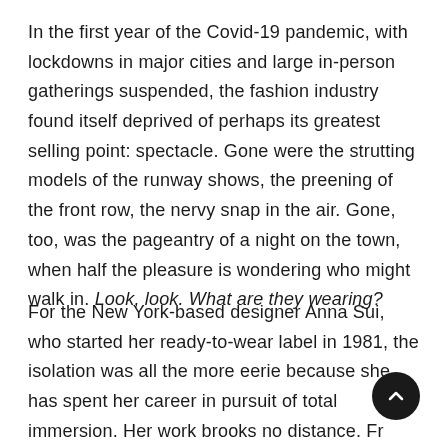In the first year of the Covid-19 pandemic, with lockdowns in major cities and large in-person gatherings suspended, the fashion industry found itself deprived of perhaps its greatest selling point: spectacle. Gone were the strutting models of the runway shows, the preening of the front row, the nervy snap in the air. Gone, too, was the pageantry of a night on the town, when half the pleasure is wondering who might walk in. Look, look. What are they wearing?
For the New York-based designer Anna Sui, who started her ready-to-wear label in 1981, the isolation was all the more eerie because she has spent her career in pursuit of total immersion. Her work brooks no distance. From the beginning, she repudiated the dominance of ‘80s-